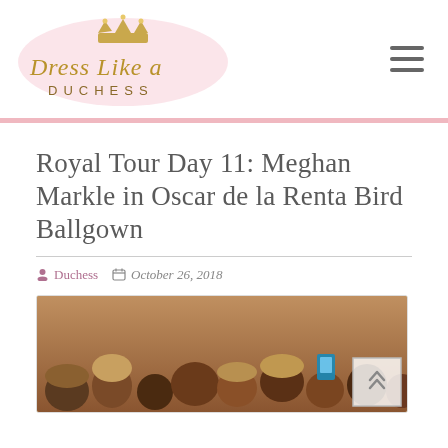[Figure (logo): Dress Like a Duchess logo with crown, cursive pink and gold text on pink watercolor background]
Royal Tour Day 11: Meghan Markle in Oscar de la Renta Bird Ballgown
Duchess   October 26, 2018
[Figure (photo): Crowd of people photographed from behind, some holding up camera phones, warm amber/brown tones]